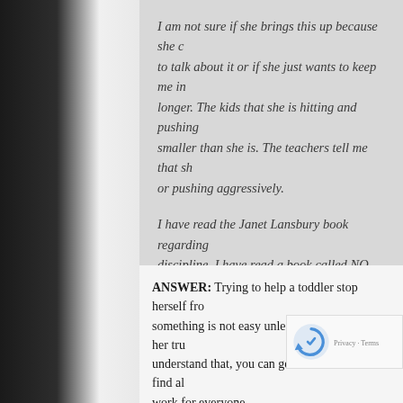I am not sure if she brings this up because she to talk about it or if she just wants to keep me i longer. The kids that she is hitting and pushing smaller than she is. The teachers tell me that sh or pushing aggressively.
I have read the Janet Lansbury book regarding discipline, I have read a book called NO dram just bought your book, Say What You See. Wha wrong? — Lina (children 4 mo, 2 years), Austi
ANSWER: Trying to help a toddler stop herself fro something is not easy unless you understand her tru understand that, you can get on her side and find al work for everyone.
Plus with a few simple coaching skills yo step farther to bring out her STRENCTHs